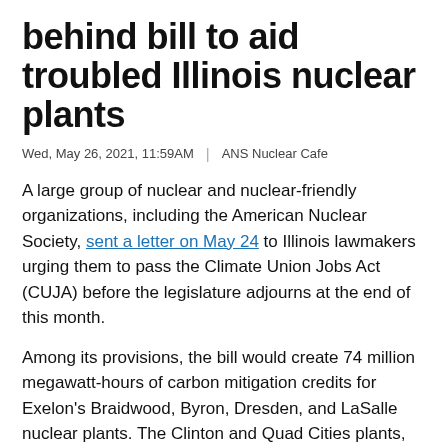behind bill to aid troubled Illinois nuclear plants
Wed, May 26, 2021, 11:59AM | ANS Nuclear Cafe
A large group of nuclear and nuclear-friendly organizations, including the American Nuclear Society, sent a letter on May 24 to Illinois lawmakers urging them to pass the Climate Union Jobs Act (CUJA) before the legislature adjourns at the end of this month.
Among its provisions, the bill would create 74 million megawatt-hours of carbon mitigation credits for Exelon's Braidwood, Byron, Dresden, and LaSalle nuclear plants. The Clinton and Quad Cities plants, which participate in Illinois's zero-emission credit program, would not be eligible. (In August of last